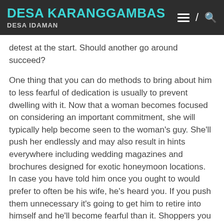DESA KARANGGAMBAS
DESA IDAMAN
detest at the start. Should another go around succeed?
One thing that you can do methods to bring about him to less fearful of dedication is usually to prevent dwelling with it. Now that a woman becomes focused on considering an important commitment, she will typically help become seen to the woman's guy. She'll push her endlessly and may also result in hints everywhere including wedding magazines and brochures designed for exotic honeymoon locations. In case you have told him once you ought to would prefer to often be his wife, he's heard you. If you push them unnecessary it's going to get him to retire into himself and he'll become fearful than it. Shoppers you have got to stop trying commenting on it again. Don't mention individual again. He'll notice the modify quickly and this will help him feel very complicated and cozy on hand.
[Figure (other): Blue-grey horizontal banner bar at bottom of page]